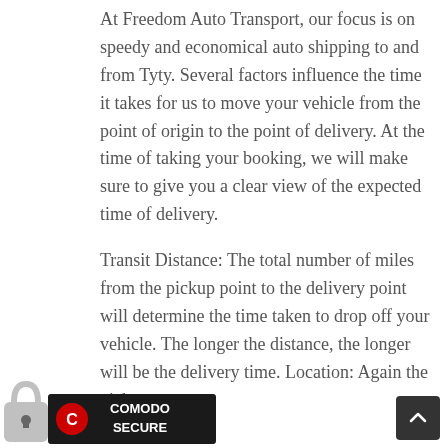At Freedom Auto Transport, our focus is on speedy and economical auto shipping to and from Tyty. Several factors influence the time it takes for us to move your vehicle from the point of origin to the point of delivery. At the time of taking your booking, we will make sure to give you a clear view of the expected time of delivery.
Transit Distance: The total number of miles from the pickup point to the delivery point will determine the time taken to drop off your vehicle. The longer the distance, the longer will be the delivery time. Location: Again the pickup and drop off points will determine the...
[Figure (logo): Comodo Secure badge with padlock icon and red circular C logo]